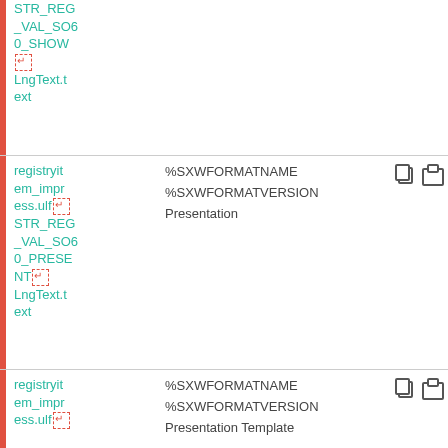| Key/ID | Value | Actions |
| --- | --- | --- |
| registryitem_impress.ulf
STR_REG_VAL_SO60_SHOW
[ret]
LngText.text | %SXWFORMATNAME
%SXWFORMATVERSION
Presentation | copy paste |
| registryitem_impress.ulf
STR_REG_VAL_SO60_PRESENT
[ret]
LngText.text | %SXWFORMATNAME
%SXWFORMATVERSION
Presentation | copy paste |
| registryitem_impress.ulf | %SXWFORMATNAME
%SXWFORMATVERSION
Presentation Template | copy paste |